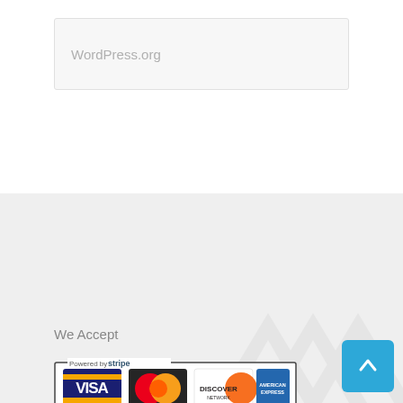WordPress.org
We Accept
[Figure (logo): Payment methods strip powered by Stripe showing Visa, MasterCard, Discover Network, and American Express logos]
[Figure (other): Blue back-to-top button with white upward chevron arrow]